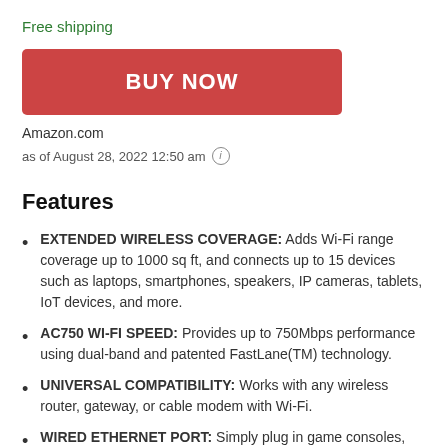Free shipping
BUY NOW
Amazon.com
as of August 28, 2022 12:50 am ⓘ
Features
EXTENDED WIRELESS COVERAGE: Adds Wi-Fi range coverage up to 1000 sq ft, and connects up to 15 devices such as laptops, smartphones, speakers, IP cameras, tablets, IoT devices, and more.
AC750 WI-FI SPEED: Provides up to 750Mbps performance using dual-band and patented FastLane(TM) technology.
UNIVERSAL COMPATIBILITY: Works with any wireless router, gateway, or cable modem with Wi-Fi.
WIRED ETHERNET PORT: Simply plug in game consoles, streaming players, or other nearby wired